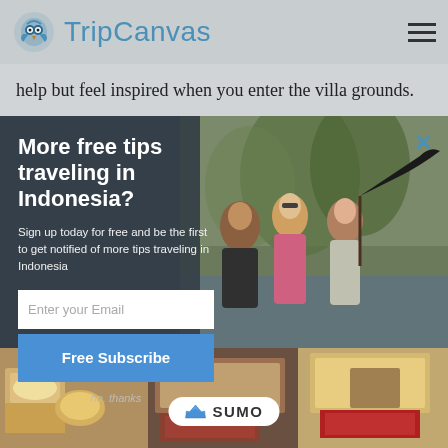TripCanvas
help but feel inspired when you enter the villa grounds.
More free tips traveling in Indonesia?
Sign up today for free and be the first to get notified of more tips traveling in Indonesia
[Figure (photo): Three women posing together outdoors, one holding a black umbrella, lush green scenery in background]
Enter your Email
Free Subscribe
no, thanks
[Figure (photo): Bottom strip showing interior room photos with beds and furnishings, with SUMO badge overlay]
[Figure (logo): SUMO logo badge with crown icon]